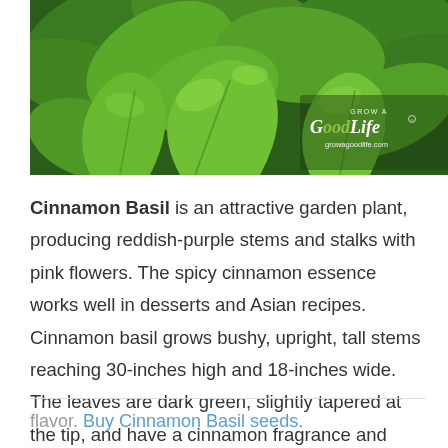[Figure (photo): Close-up photo of green basil plants with large lush leaves. Watermark in bottom-right reads 'Grow a GoodLife' and 'growagoodlife.com'.]
Cinnamon Basil is an attractive garden plant, producing reddish-purple stems and stalks with pink flowers. The spicy cinnamon essence works well in desserts and Asian recipes. Cinnamon basil grows bushy, upright, tall stems reaching 30-inches high and 18-inches wide. The leaves are dark green, slightly tapered at the tip, and have a cinnamon fragrance and flavor. Buy Cinnamon Basil seeds.